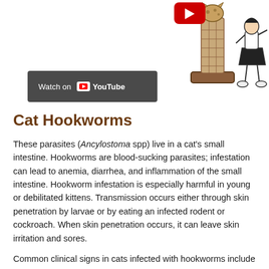[Figure (screenshot): YouTube video thumbnail showing a cat scratching post with a cat on top, a red YouTube play button overlay, and a person standing beside it. Below is a YouTube 'Watch on YouTube' button bar with dark background.]
Cat Hookworms
These parasites (Ancylostoma spp) live in a cat's small intestine. Hookworms are blood-sucking parasites; infestation can lead to anemia, diarrhea, and inflammation of the small intestine. Hookworm infestation is especially harmful in young or debilitated kittens. Transmission occurs either through skin penetration by larvae or by eating an infected rodent or cockroach. When skin penetration occurs, it can leave skin irritation and sores.
Common clinical signs in cats infected with hookworms include diarrhea, which may be dark or tarry in appearance, decreased appetite, and general un-thriftiness. The